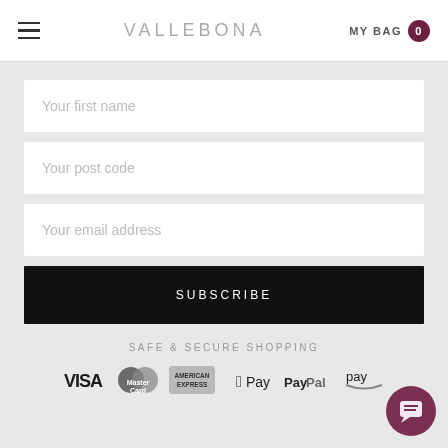VALLEBONA — MY BAG 0
Your first name
Your post code
Your email address
SUBSCRIBE
SAFE & SECURE SHOPPING
[Figure (logo): Payment method logos: VISA, MasterCard, American Express, Apple Pay, PayPal, Amazon Pay]